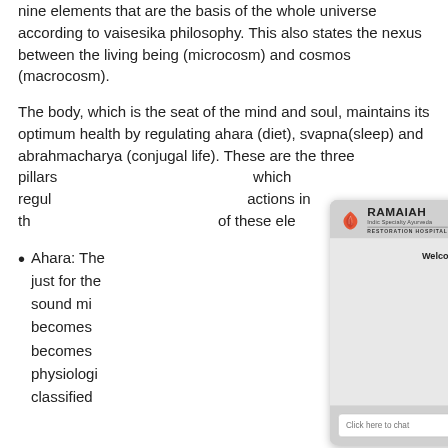nine elements that are the basis of the whole universe according to vaisesika philosophy. This also states the nexus between the living being (microcosm) and cosmos (macrocosm).
The body, which is the seat of the mind and soul, maintains its optimum health by regulating ahara (diet), svapna(sleep) and abrahmacharya (conjugal life). These are the three pillars which regulate actions in the of these ele
Ahara: The just for the sound mi becomes becomes physiologi classified
[Figure (screenshot): Live Chat overlay from Ramaiah Indic Specialty Ayurveda Restoration Hospital. Shows logo, 'Live Chat' heading, 'Welcome to Ramaiah Ayurveda' text, a chat input field with placeholder 'Click here to chat' and a 'Send' button.]